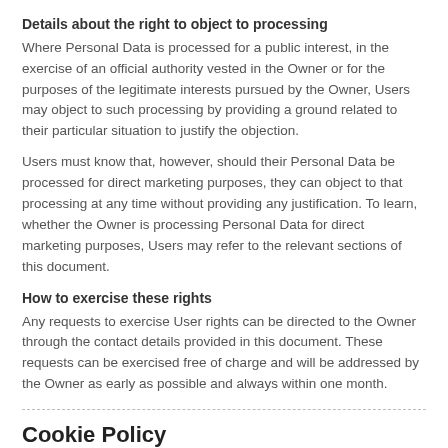Details about the right to object to processing
Where Personal Data is processed for a public interest, in the exercise of an official authority vested in the Owner or for the purposes of the legitimate interests pursued by the Owner, Users may object to such processing by providing a ground related to their particular situation to justify the objection.
Users must know that, however, should their Personal Data be processed for direct marketing purposes, they can object to that processing at any time without providing any justification. To learn, whether the Owner is processing Personal Data for direct marketing purposes, Users may refer to the relevant sections of this document.
How to exercise these rights
Any requests to exercise User rights can be directed to the Owner through the contact details provided in this document. These requests can be exercised free of charge and will be addressed by the Owner as early as possible and always within one month.
Cookie Policy
This Application uses Trackers. To learn more, the User may consult the Cookie Policy.